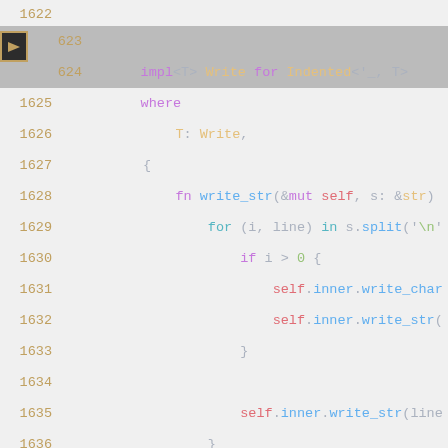[Figure (screenshot): Source code screenshot showing Rust code implementing the Write trait for an Indented struct. Lines 1622-1639 are visible with syntax highlighting on a light gray background. An arrow indicator marks line 1623. The code shows an impl block for Write for Indented<'_, T> where T: Write, containing a write_str method that iterates over lines split by newline characters.]